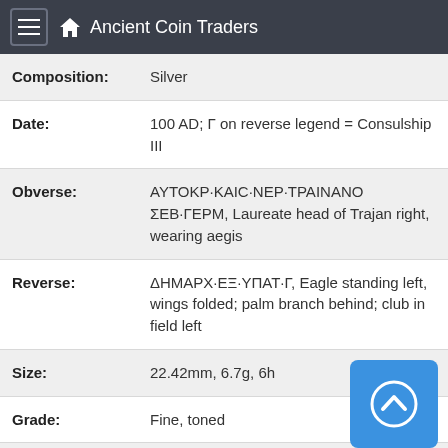Ancient Coin Traders
| Field | Value |
| --- | --- |
| Composition: | Silver |
| Date: | 100 AD; Γ on reverse legend = Consulship III |
| Obverse: | ΑΥΤΟΚΡ·ΚΑIC·ΝΕΡ·ΤΡΑΙΝΑΝΟ CΕΒ·ΓΕΡΜ, Laureate head of Trajan right, wearing aegis |
| Reverse: | ΔΗΜΑΡΧ·ΕΞ·ΥΠΑΤ·Γ, Eagle standing left, wings folded; palm branch behind; club in field left |
| Size: | 22.42mm, 6.7g, 6h |
| Grade: | Fine, toned |
| Rarity: | exceedingly rare |